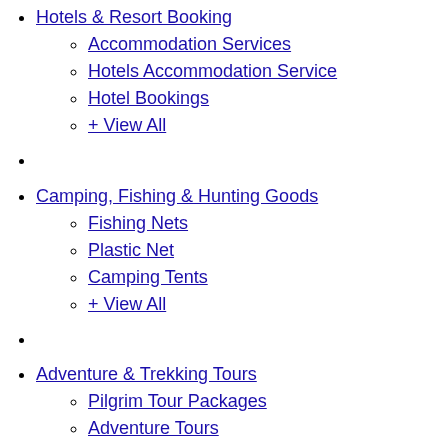Hotels & Resort Booking
Accommodation Services
Hotels Accommodation Service
Hotel Bookings
+ View All
Camping, Fishing & Hunting Goods
Fishing Nets
Plastic Net
Camping Tents
+ View All
Adventure & Trekking Tours
Pilgrim Tour Packages
Adventure Tours
Wildlife Tours
+ View All
Air Ticket Booking
Vehicle Rental
Air-conditioned Deluxe Rooms
Fishing Accessories